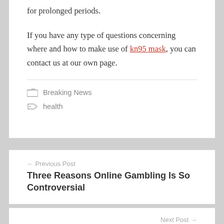for prolonged periods.
If you have any type of questions concerning where and how to make use of kn95 mask, you can contact us at our own page.
Breaking News
health
← Previous Post
Three Reasons Online Gambling Is So Controversial
Next Post →